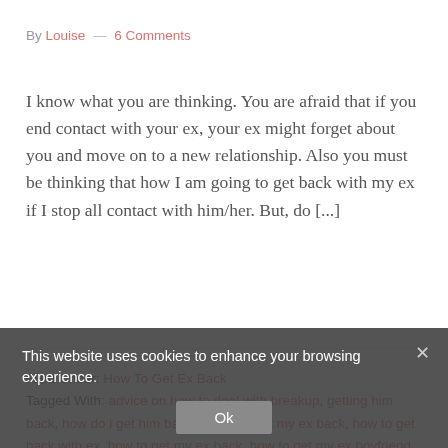By Louise — 6 Comments
I know what you are thinking. You are afraid that if you end contact with your ex, your ex might forget about you and move on to a new relationship. Also you must be thinking that how I am going to get back with my ex if I stop all contact with him/her. But, do [...]
Filed Under: How To Get Ex Back
Tagged With: advice on how to deal with breakup, getting him back, how do i get him back, how do i get my ex back, how to get back with ex, how to get my ex back, how to get my ex boyfriend back, how to get your ex boyfriend back, how to win him back, tips on how to make your ex think about you
This website uses cookies to enhance your browsing experience.